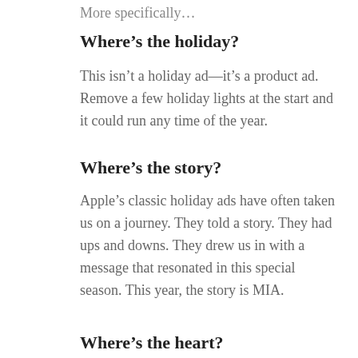More specifically…
Where’s the holiday?
This isn’t a holiday ad—it’s a product ad. Remove a few holiday lights at the start and it could run any time of the year.
Where’s the story?
Apple’s classic holiday ads have often taken us on a journey. They told a story. They had ups and downs. They drew us in with a message that resonated in this special season. This year, the story is MIA.
Where’s the heart?